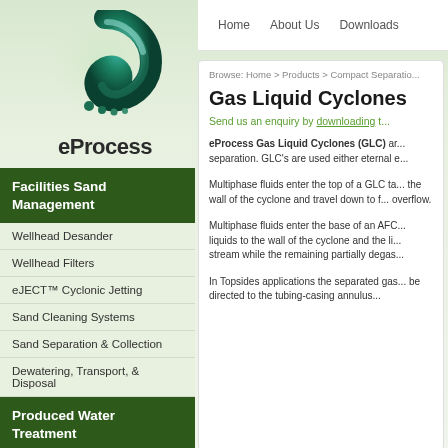[Figure (logo): eProcess company logo — a stylized green swirl/spiral shape with small dots, above the text 'eProcess']
Facilities Sand Management
Wellhead Desander
Wellhead Filters
eJECT™ Cyclonic Jetting
Sand Cleaning Systems
Sand Separation & Collection
Dewatering, Transport, & Disposal
Produced Water Treatment
Home   About Us   Downloads
Browse: Home > Products > Compact Separatio...
Gas Liquid Cyclones
Send us an enquiry by downloading t...
eProcess Gas Liquid Cyclones (GLC) are used for gas liquid separation. GLC's are used either eternal e...
Multiphase fluids enter the top of a GLC ta... the wall of the cyclone and travel down to f... overflow.
Multiphase fluids enter the base of an AFC... liquids to the wall of the cyclone and the li... stream while the remaining partially degas...
In Topsides applications the separated gas... be directed to the tubing-casing annulus...